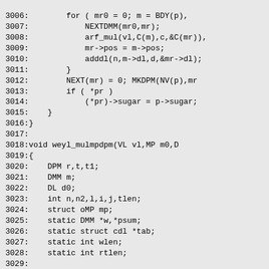[Figure (other): Source code listing in C, lines 3006-3036, showing functions weyl_mulmpdpm with variable declarations and control flow including for loops, if statements, and function calls like NEXTDMM, arf_mul, adddl, NEXT, MKDPM, GCFREE, MALLOC.]